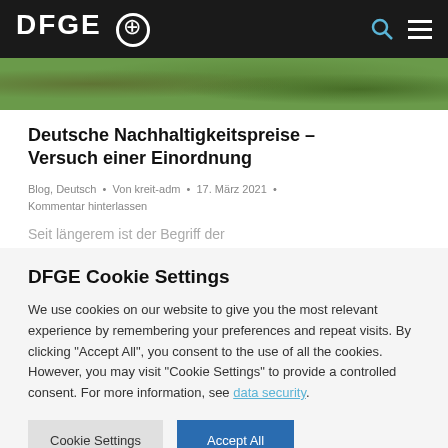DFGE ⊕
Deutsche Nachhaltigkeitspreise – Versuch einer Einordnung
Blog, Deutsch • Von kreit-adm • 17. März 2021 • Kommentar hinterlassen
Seit längerem ist der Begriff der
DFGE Cookie Settings
We use cookies on our website to give you the most relevant experience by remembering your preferences and repeat visits. By clicking "Accept All", you consent to the use of all the cookies. However, you may visit "Cookie Settings" to provide a controlled consent. For more information, see data security.